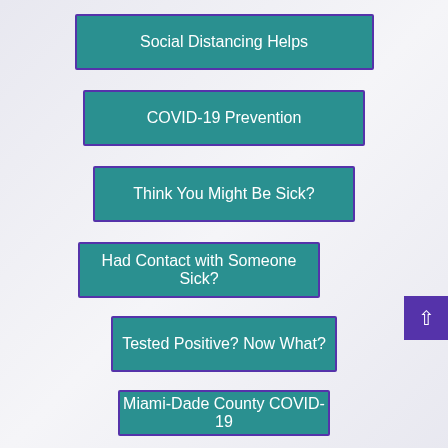Social Distancing Helps
COVID-19 Prevention
Think You Might Be Sick?
Had Contact with Someone Sick?
Tested Positive? Now What?
Miami-Dade County COVID-19